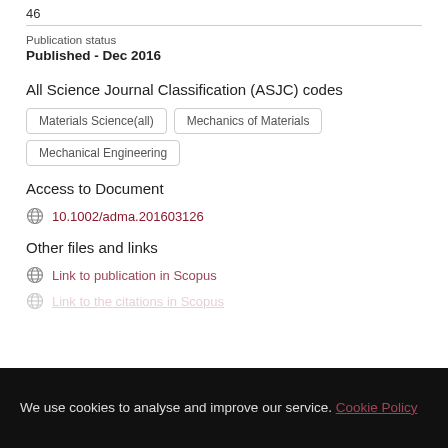46
Publication status
Published - Dec 2016
All Science Journal Classification (ASJC) codes
Materials Science(all)
Mechanics of Materials
Mechanical Engineering
Access to Document
10.1002/adma.201603126
Other files and links
Link to publication in Scopus
Link to the citations in Scopus
We use cookies to analyse and improve our service. Cookie Policy